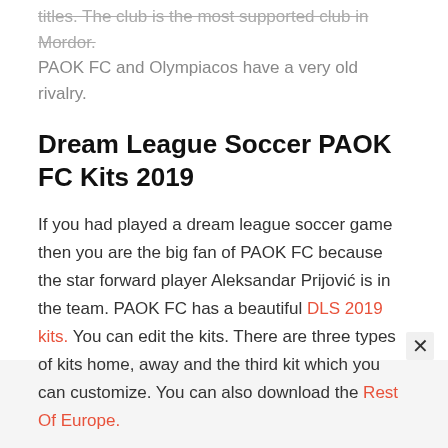titles. The club is the most supported club in Mordor. PAOK FC and Olympiacos have a very old rivalry.
Dream League Soccer PAOK FC Kits 2019
If you had played a dream league soccer game then you are the big fan of PAOK FC because the star forward player Aleksandar Prijović is in the team. PAOK FC has a beautiful DLS 2019 kits. You can edit the kits. There are three types of kits home, away and the third kit which you can customize. You can also download the Rest Of Europe.
PAOK FC Home Kit: